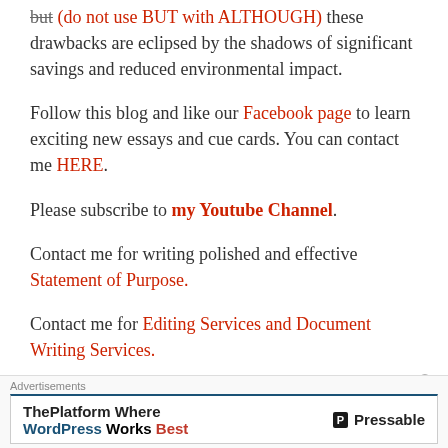but (do not use BUT with ALTHOUGH) these drawbacks are eclipsed by the shadows of significant savings and reduced environmental impact.
Follow this blog and like our Facebook page to learn exciting new essays and cue cards. You can contact me HERE.
Please subscribe to my Youtube Channel.
Contact me for writing polished and effective Statement of Purpose.
Contact me for Editing Services and Document Writing Services.
[Figure (other): Advertisement banner: ThePlatform Where WordPress Works Best — Pressable logo]